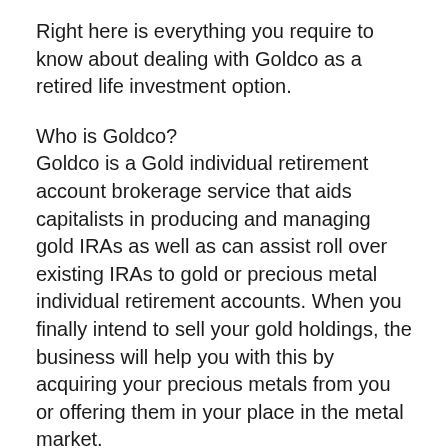Right here is everything you require to know about dealing with Goldco as a retired life investment option.
Who is Goldco?
Goldco is a Gold individual retirement account brokerage service that aids capitalists in producing and managing gold IRAs as well as can assist roll over existing IRAs to gold or precious metal individual retirement accounts. When you finally intend to sell your gold holdings, the business will help you with this by acquiring your precious metals from you or offering them in your place in the metal market.
Based in Timberland Hills in The Golden State, Goldco Precious Metals was begun in